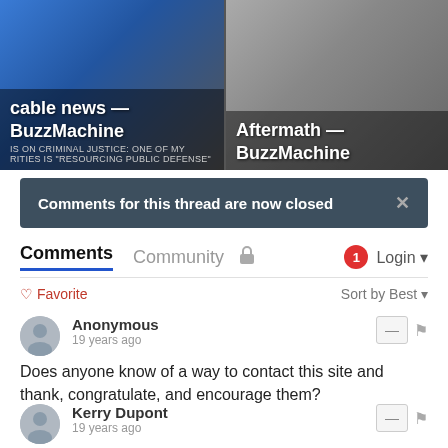[Figure (screenshot): Two thumbnail images from BuzzMachine. Left: 'cable news — BuzzMachine' with blue background. Right: 'Aftermath — BuzzMachine' with grayscale image.]
Comments for this thread are now closed
Comments  Community  🔒  1  Login
♡ Favorite   Sort by Best
Anonymous
19 years ago
Does anyone know of a way to contact this site and thank, congratulate, and encourage them?
Kerry Dupont
19 years ago